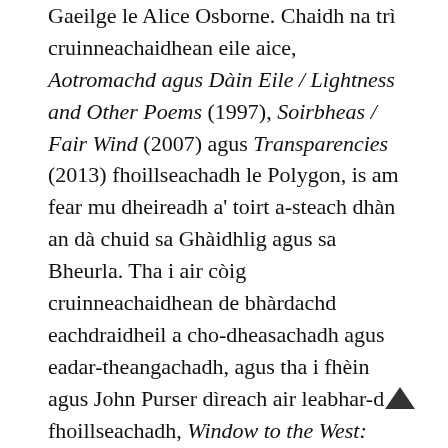Gaeilge le Alice Osborne. Chaidh na trì cruinneachaidhean eile aice, Aotromachd agus Dàin Eile / Lightness and Other Poems (1997), Soirbheas / Fair Wind (2007) agus Transparencies (2013) fhoillseachadh le Polygon, is am fear mu dheireadh a' toirt a-steach dhàn an dà chuid sa Ghàidhlig agus sa Bheurla. Tha i air còig cruinneachaidhean de bhàrdachd eachdraidheil a cho-dheasachadh agus eadar-theangachadh, agus tha i fhèin agus John Purser dìreach air leabhar-d fhoillseachadh, Window to the West: Culture and Environment